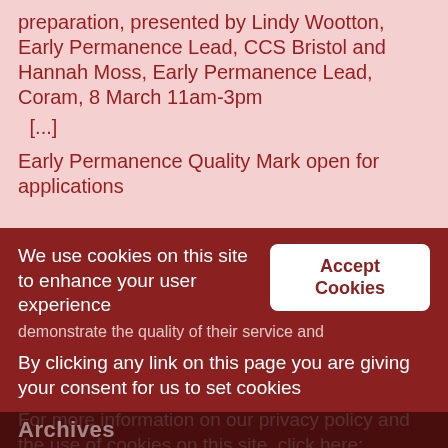preparation, presented by Lindy Wootton, Early Permanence Lead, CCS Bristol and Hannah Moss, Early Permanence Lead, Coram, 8 March 11am-3pm
[...]
Early Permanence Quality Mark open for applications
We use cookies on this site to enhance your user experience
By clicking any link on this page you are giving your consent for us to set cookies
For more information on our privacy policy and the use of cookies on this site, click here: Privacy Policy
Archives